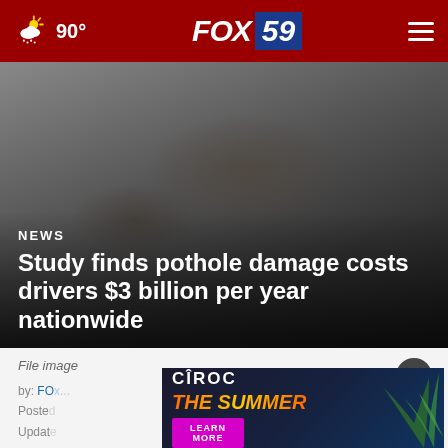FOX 59  90°
[Figure (photo): Dark asphalt road surface with pothole damage, used as hero background image]
NEWS
Study finds pothole damage costs drivers $3 billion per year nationwide
File image
by: FOX... Posted Updated
[Figure (advertisement): Cîroc The Summer - Learn More advertisement banner]